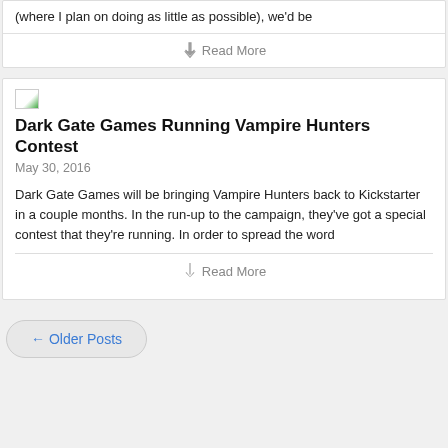(where I plan on doing as little as possible), we'd be
Read More
[Figure (illustration): Small broken/placeholder image icon]
Dark Gate Games Running Vampire Hunters Contest
May 30, 2016
Dark Gate Games will be bringing Vampire Hunters back to Kickstarter in a couple months. In the run-up to the campaign, they've got a special contest that they're running. In order to spread the word
Read More
← Older Posts